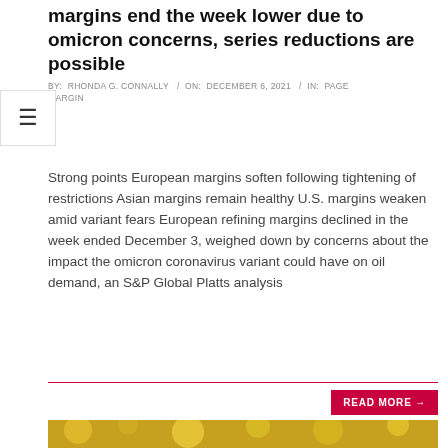margins end the week lower due to omicron concerns, series reductions are possible
BY: RHONDA G. CONNALLY / ON: DECEMBER 6, 2021 / IN: PAGE MARGIN
Strong points European margins soften following tightening of restrictions Asian margins remain healthy U.S. margins weaken amid variant fears European refining margins declined in the week ended December 3, weighed down by concerns about the impact the omicron coronavirus variant could have on oil demand, an S&P Global Platts analysis
[Figure (photo): Photo of an elderly woman with short gray/white hair against a blurred yellow floral background]